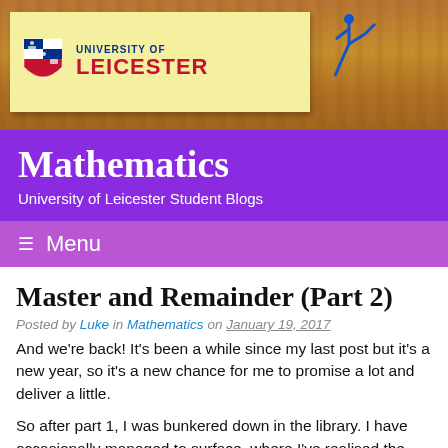[Figure (logo): University of Leicester logo on sticky note with wood background header banner]
Mathematics
University of Leicester Student Blogs
≡ Menu
Master and Remainder (Part 2)
Posted by Luke in Mathematics on January 19, 2017
And we're back! It's been a while since my last post but it's a new year, so it's a new chance for me to promise a lot and deliver a little.
So after part 1, I was bunkered down in the library. I have occasionally managed to surface, where I've realised the